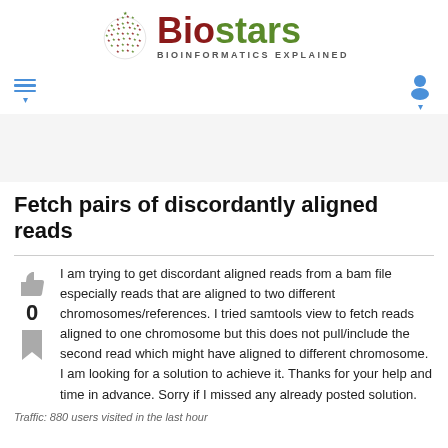[Figure (logo): Biostars logo with globe icon and text 'Biostars BIOINFORMATICS EXPLAINED']
Fetch pairs of discordantly aligned reads
I am trying to get discordant aligned reads from a bam file especially reads that are aligned to two different chromosomes/references. I tried samtools view to fetch reads aligned to one chromosome but this does not pull/include the second read which might have aligned to different chromosome. I am looking for a solution to achieve it. Thanks for your help and time in advance. Sorry if I missed any already posted solution.
Traffic: 880 users visited in the last hour